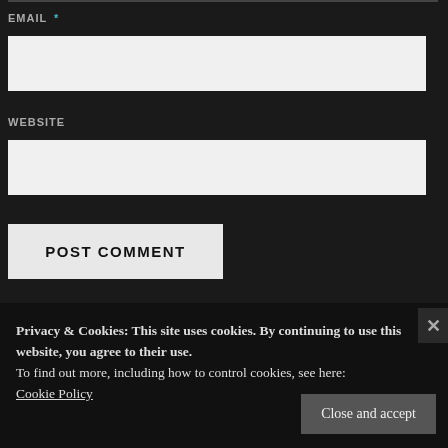EMAIL *
WEBSITE
POST COMMENT
Privacy & Cookies: This site uses cookies. By continuing to use this website, you agree to their use.
To find out more, including how to control cookies, see here:
Cookie Policy
Close and accept